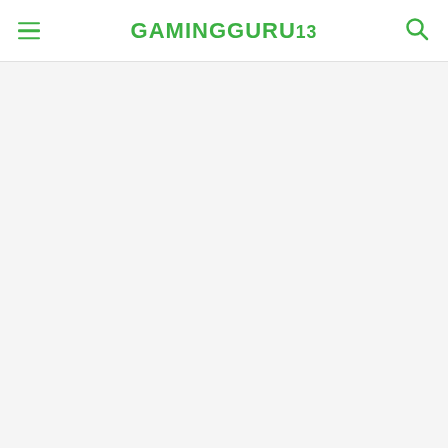GAMINGGURU13
[Figure (other): Empty content area with light gray background]